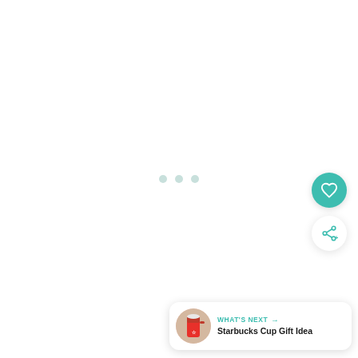[Figure (other): Loading state with three small light teal dots centered on a white background]
[Figure (other): Teal circular floating action button with a white heart icon]
[Figure (other): White circular floating action button with a teal share/plus icon]
[Figure (other): What's Next card showing a Starbucks Cup Gift Idea preview with thumbnail image, teal label and bold title text]